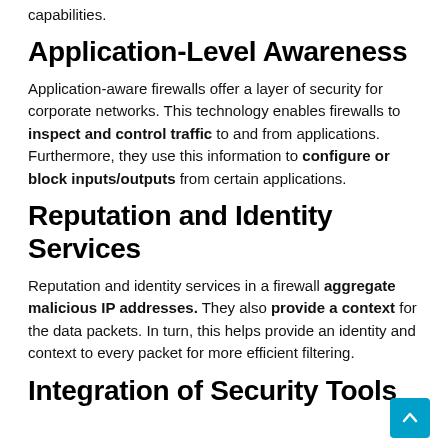capabilities.
Application-Level Awareness
Application-aware firewalls offer a layer of security for corporate networks. This technology enables firewalls to inspect and control traffic to and from applications. Furthermore, they use this information to configure or block inputs/outputs from certain applications.
Reputation and Identity Services
Reputation and identity services in a firewall aggregate malicious IP addresses. They also provide a context for the data packets. In turn, this helps provide an identity and context to every packet for more efficient filtering.
Integration of Security Tools